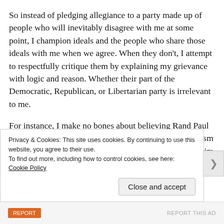So instead of pledging allegiance to a party made up of people who will inevitably disagree with me at some point, I champion ideals and the people who share those ideals with me when we agree. When they don't, I attempt to respectfully critique them by explaining my grievance with logic and reason. Whether their part of the Democratic, Republican, or Libertarian party is irrelevant to me.
For instance, I make no bones about believing Rand Paul is the best hope to shift our country towards libertarianism despite him being a Republican, yet I don't agree with him on his stance against gay marriage and abortion. Once I discovered he differed from me on these issues, I didn't start insulting him as [cut off]
Privacy & Cookies: This site uses cookies. By continuing to use this website, you agree to their use.
To find out more, including how to control cookies, see here: Cookie Policy
Close and accept